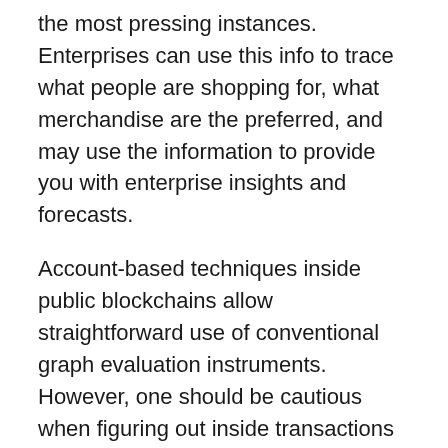the most pressing instances. Enterprises can use this info to trace what people are shopping for, what merchandise are the preferred, and may use the information to provide you with enterprise insights and forecasts.
Account-based techniques inside public blockchains allow straightforward use of conventional graph evaluation instruments. However, one should be cautious when figuring out inside transactions from peer-to-peer transactions so that every one relationships (resembling token purchase and promote) between addresses will correctly replicate on the graph. That stated, that’s outweighed by the truth that evaluation on public blockchain transactions stand to be extra insightful than permissioned or non-public blockchains, just